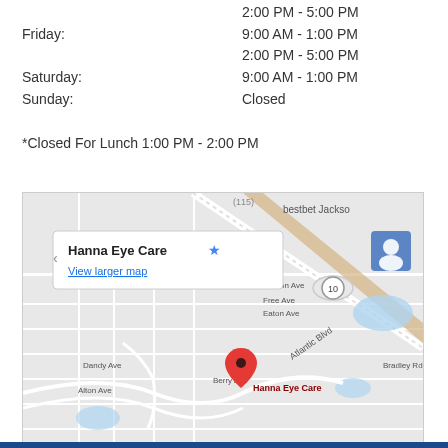2:00 PM - 5:00 PM
Friday: 9:00 AM - 1:00 PM
2:00 PM - 5:00 PM
Saturday: 9:00 AM - 1:00 PM
Sunday: Closed
*Closed For Lunch 1:00 PM - 2:00 PM
[Figure (map): Google Map showing location of Hanna Eye Care with a red map pin marker, popup showing 'Hanna Eye Care' and 'View larger map' link, streets including Atlantic Blvd, Bradley Rd, Berry Ave, Dandy Ave, Alton Ave, Galveston Ave, Free Ave, Eaton Ave visible, with a blue user icon in top right.]